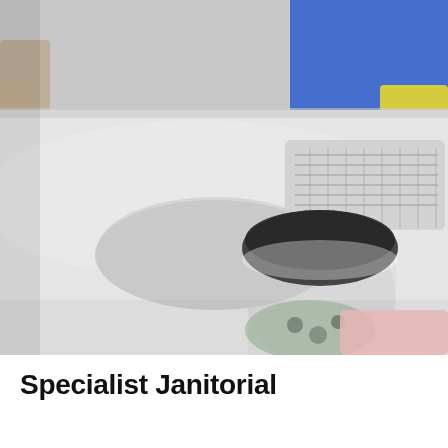[Figure (photo): A blurred close-up photograph of a white office desk with a robotic vacuum cleaner or similar circular black device on it, a keyboard visible in the background, a jar with colorful items, a pink cloth, and a person in blue uniform partially visible in the upper background.]
Specialist Janitorial